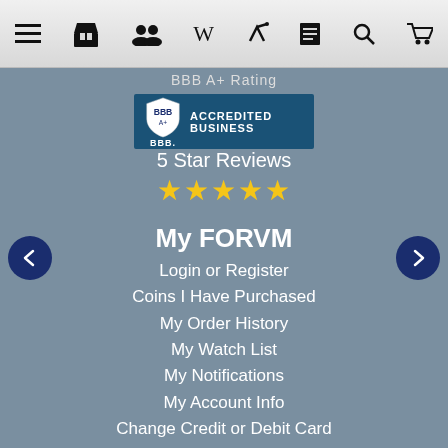[Figure (screenshot): Mobile navigation bar with hamburger menu and icons for store, users, Wikipedia, bookmark, notes, search, and cart]
BBB A+ Rating
[Figure (logo): BBB Accredited Business badge with shield logo on teal/blue background]
5 Star Reviews
[Figure (illustration): Five gold star rating icons]
My FORVM
Login or Register
Coins I Have Purchased
My Order History
My Watch List
My Notifications
My Account Info
Change Credit or Debit Card
Change Login or Password
Make a Payment